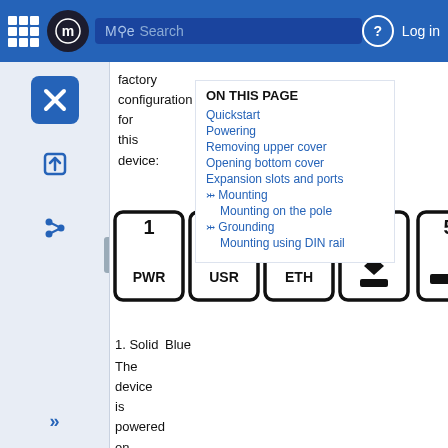Mode Search | Log in
factory configuration for this device:
ON THIS PAGE
Quickstart
Powering
Removing upper cover
Opening bottom cover
Expansion slots and ports
Mounting
Mounting on the pole
Grounding
Mounting using DIN rail
[Figure (engineering-diagram): Device front panel diagram showing numbered slots 1-7 with PWR, USR, ETH labels and icons]
1. Solid Blue
The device is powered on.
2. Solid